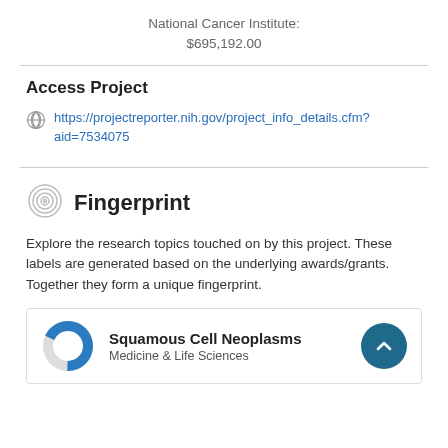National Cancer Institute:
$695,192.00
Access Project
https://projectreporter.nih.gov/project_info_details.cfm?aid=7534075
Fingerprint
Explore the research topics touched on by this project. These labels are generated based on the underlying awards/grants. Together they form a unique fingerprint.
Squamous Cell Neoplasms
Medicine & Life Sciences